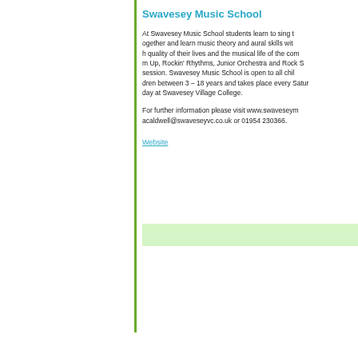Swavesey Music School
At Swavesey Music School students learn to sing together and learn music theory and aural skills with quality of their lives and the musical life of the community. Up, Rockin' Rhythms, Junior Orchestra and Rock S... session. Swavesey Music School is open to all children between 3 – 18 years and takes place every Saturday at Swavesey Village College.
For further information please visit www.swaveseymusic... acaldwell@swaveseyvc.co.uk or 01954 230366.
Website